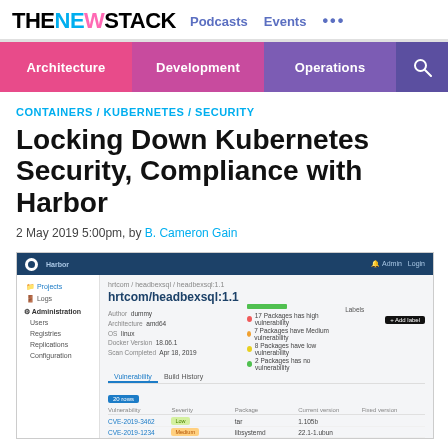THE NEW STACK | Podcasts | Events | ...
Architecture | Development | Operations
CONTAINERS / KUBERNETES / SECURITY
Locking Down Kubernetes Security, Compliance with Harbor
2 May 2019 5:00pm, by B. Cameron Gain
[Figure (screenshot): Harbor container registry UI showing a vulnerability scan of hrtcom/headbexsql:1.1 image, listing critical, high, medium, and low severity CVEs in a table with package names, severity badges, and fix versions.]